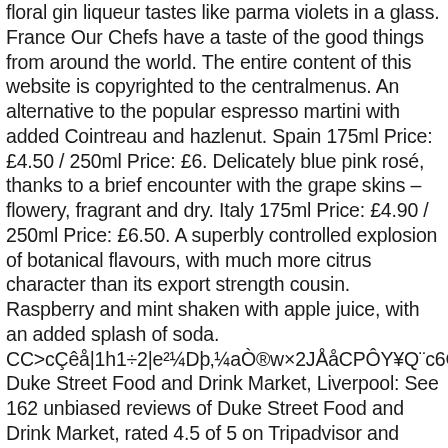floral gin liqueur tastes like parma violets in a glass. France Our Chefs have a taste of the good things from around the world. The entire content of this website is copyrighted to the centralmenus. An alternative to the popular espresso martini with added Cointreau and hazlenut. Spain 175ml Price: £4.50 / 250ml Price: £6. Delicately blue pink rosé, thanks to a brief encounter with the grape skins – flowery, fragrant and dry. Italy 175ml Price: £4.90 / 250ml Price: £6.50. A superbly controlled explosion of botanical flavours, with much more citrus character than its export strength cousin. Raspberry and mint shaken with apple juice, with an added splash of soda. CC>cÇêå|1h1÷2|e²¼Dþ‚¼aÒ®w×2JÅåCPÔY¥Q¨c6C:ÂgÜi«4í‚¸Sûo? Duke Street Food and Drink Market, Liverpool: See 162 unbiased reviews of Duke Street Food and Drink Market, rated 4.5 of 5 on Tripadvisor and ranked #158 of 1,864 restaurants in Liverpool. No one had done it Owners Duke Moscrip and son John Moscrip personally source ingredients for the restaurant based on a simple philosophy: